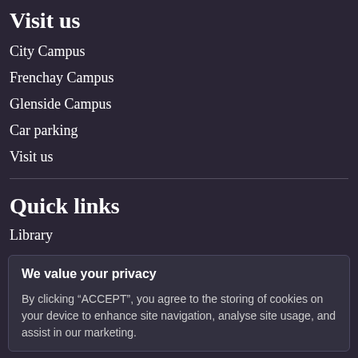Visit us
City Campus
Frenchay Campus
Glenside Campus
Car parking
Visit us
Quick links
Library
We value your privacy
By clicking “ACCEPT”, you agree to the storing of cookies on your device to enhance site navigation, analyse site usage, and assist in our marketing.